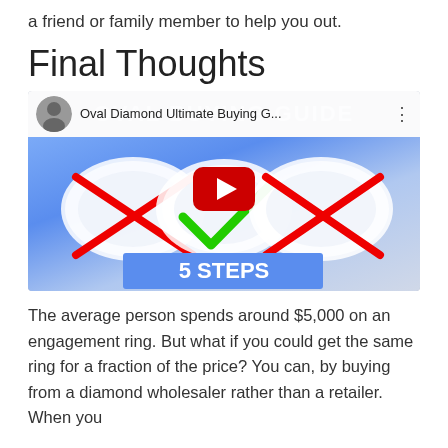a friend or family member to help you out.
Final Thoughts
[Figure (screenshot): YouTube video thumbnail for 'Oval Diamond Ultimate Buying G...' showing three oval diamonds with red X marks and a green checkmark, a YouTube play button in the center, and '5 STEPS' text on a blue banner at the bottom.]
The average person spends around $5,000 on an engagement ring. But what if you could get the same ring for a fraction of the price? You can, by buying from a diamond wholesaler rather than a retailer. When you